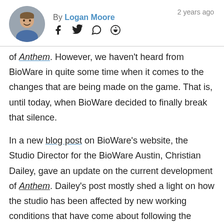By Logan Moore   2 years ago
[Figure (photo): Circular avatar photo of Logan Moore, a young man smiling]
of Anthem. However, we haven't heard from BioWare in quite some time when it comes to the changes that are being made on the game. That is, until today, when BioWare decided to finally break that silence.
In a new blog post on BioWare's website, the Studio Director for the BioWare Austin, Christian Dailey, gave an update on the current development of Anthem. Dailey's post mostly shed a light on how the studio has been affected by new working conditions that have come about following the COVID-19 pandemic coming about over the past few months. Like many other developers around the